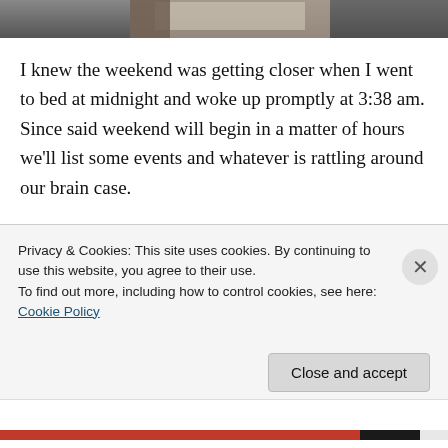[Figure (photo): Partial photo at the top of the page, partially cut off showing a cropped image.]
I knew the weekend was getting closer when I went to bed at midnight and woke up promptly at 3:38 am. Since said weekend will begin in a matter of hours we’ll list some events and whatever is rattling around our brain case.
In an earlier post called “Help make her day” we added a link to her new GoFundMe page in the event you would like to donate. The haters got on the
Facebook page which caused her mother to remove the
Privacy & Cookies: This site uses cookies. By continuing to use this website, you agree to their use.
To find out more, including how to control cookies, see here: Cookie Policy
Close and accept